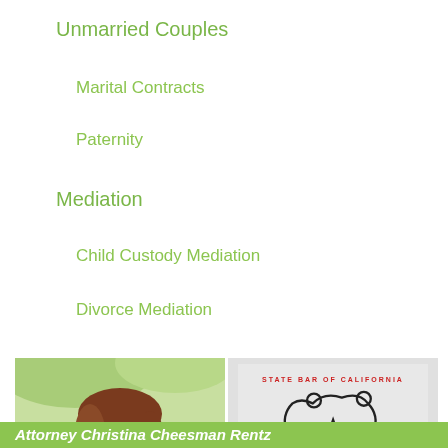Unmarried Couples
Marital Contracts
Paternity
Mediation
Child Custody Mediation
Divorce Mediation
[Figure (photo): Professional headshot of a female attorney with brown hair, wearing a dark blazer, smiling against a green outdoor background]
[Figure (logo): California Board of Legal Specialization - Board Certified Family Law Specialist seal/badge with State Bar of California bear logo]
Attorney Christina Cheeseman Rentz